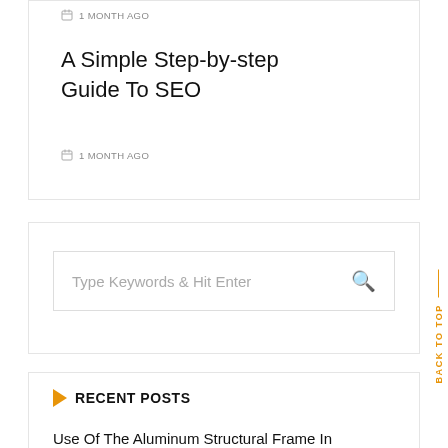1 MONTH AGO
A Simple Step-by-step Guide To SEO
1 MONTH AGO
Type Keywords & Hit Enter
RECENT POSTS
Use Of The Aluminum Structural Frame In